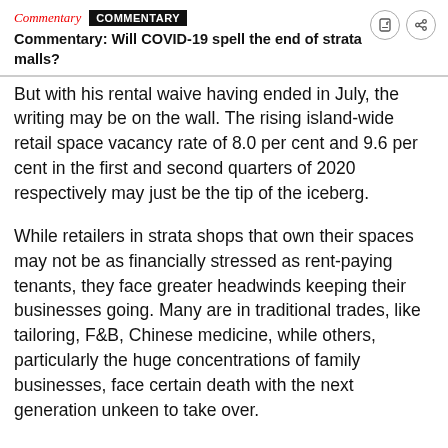Commentary  COMMENTARY
Commentary: Will COVID-19 spell the end of strata malls?
But with his rental waive having ended in July, the writing may be on the wall. The rising island-wide retail space vacancy rate of 8.0 per cent and 9.6 per cent in the first and second quarters of 2020 respectively may just be the tip of the iceberg.
While retailers in strata shops that own their spaces may not be as financially stressed as rent-paying tenants, they face greater headwinds keeping their businesses going. Many are in traditional trades, like tailoring, F&B, Chinese medicine, while others, particularly the huge concentrations of family businesses, face certain death with the next generation unkeen to take over.